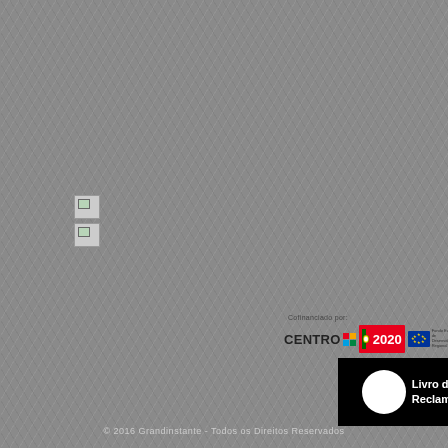[Figure (logo): Two broken/placeholder images stacked vertically at top-left area]
[Figure (logo): Small broken/placeholder image in center area]
Cofinanciado por:
[Figure (logo): CENTRO 2020, Portugal 2020, and EU fund logos bar]
[Figure (logo): Livro de Reclamações black banner with white circle logo]
© 2016 Grandinstante - Todos os Direitos Reservados